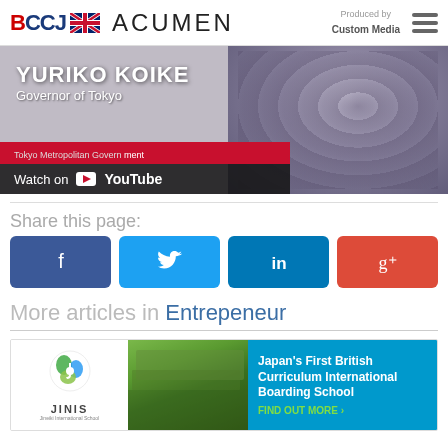BCCJ ACUMEN — Produced by Custom Media
[Figure (screenshot): YouTube video thumbnail showing Yuriko Koike, Governor of Tokyo, with Tokyo Metropolitan Government branding and Watch on YouTube bar]
Share this page:
[Figure (infographic): Social share buttons: Facebook, Twitter, LinkedIn, Google+]
More articles in Entrepeneur
[Figure (infographic): JINIS advertisement: Japan's First British Curriculum International Boarding School — FIND OUT MORE]